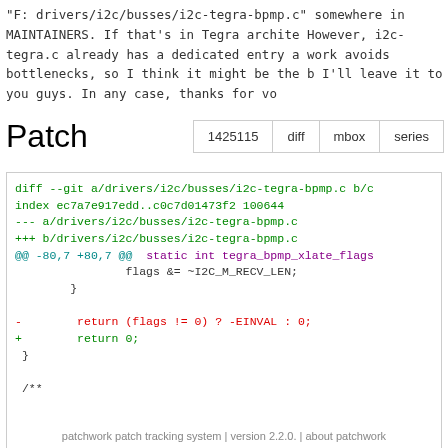"F:    drivers/i2c/busses/i2c-tegra-bpmp.c"

somewhere in MAINTAINERS. If that's in Tegra archite...
However, i2c-tegra.c already has a dedicated entry a...
work avoids bottlenecks, so I think it might be the b...
I'll leave it to you guys. In any case, thanks for vo...
Patch
| 1425115 | diff | mbox | series |
| --- | --- | --- | --- |
[Figure (screenshot): diff --git patch code block showing changes to i2c-tegra-bpmp.c including index line, file headers, hunk header @@ -80,7 +80,7 @@, code context with flags &= ~I2C_M_RECV_LEN, removal of return (flags != 0) ? -EINVAL : 0 and addition of return 0, closing brace, and start of /** comment]
patchwork patch tracking system | version 2.2.0. | about patchwork